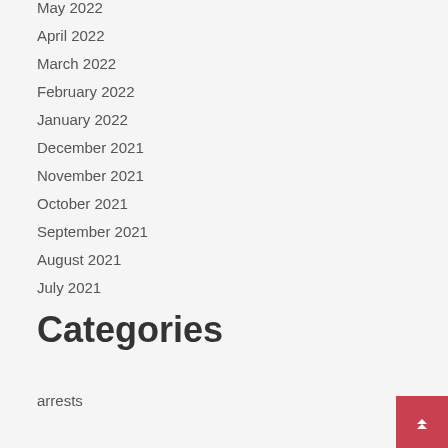May 2022
April 2022
March 2022
February 2022
January 2022
December 2021
November 2021
October 2021
September 2021
August 2021
July 2021
Categories
arrests